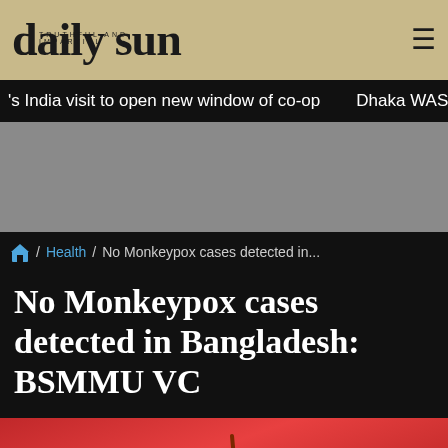daily sun
s India visit to open new window of co-op   Dhaka WASA to stop su
[Figure (other): Gray advertisement/banner placeholder area]
/ Health / No Monkeypox cases detected in...
No Monkeypox cases detected in Bangladesh: BSMMU VC
[Figure (photo): Close-up illustration of monkeypox virus particles (orange/gold spheres with spike-like protrusions) on a red background]